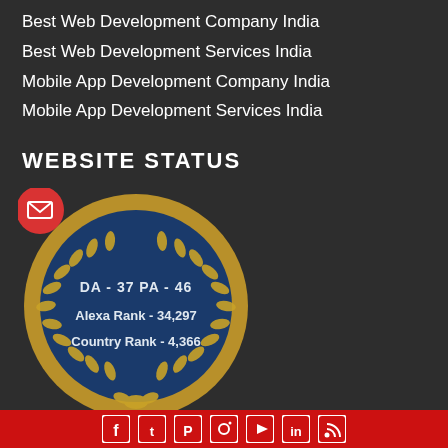Best Web Development Company India
Best Web Development Services India
Mobile App Development Company India
Mobile App Development Services India
WEBSITE STATUS
[Figure (infographic): A circular badge with dark blue background and gold laurel wreath border. Red email icon circle in top-left. Text inside reads: DA - 37  PA - 46, Alexa Rank - 34,297, Country Rank - 4,366]
Social media icons: Facebook, Twitter, Pinterest, Instagram, YouTube, LinkedIn, RSS